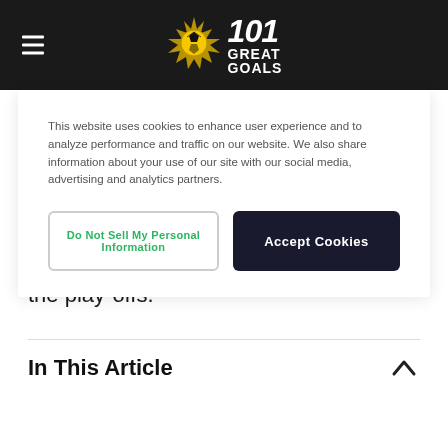101 Great Goals
This website uses cookies to enhance user experience and to analyze performance and traffic on our website. We also share information about your use of our site with our social media, advertising and analytics partners.
Do Not Sell My Personal Information
Accept Cookies
account to watch Seattle Sounders vs Los Angeles FC live streaming.
Bet365 will be showing every single MLS match throughout the course of the season. This, of course, includes the play-offs.
In This Article